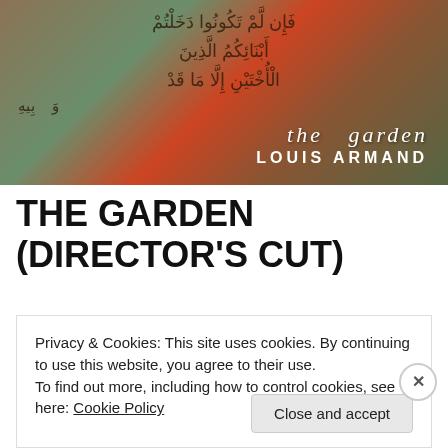[Figure (illustration): Book cover for 'The Garden' by Louis Armand. Background features Arabic calligraphic text overlaid with figures in reddish tones. White italic script reads 'the garden' and bold uppercase text reads 'LOUIS ARMAND'.]
THE GARDEN (DIRECTOR'S CUT)
[Figure (photo): Partial black and white photograph visible behind cookie consent overlay, with 'hdc' label in top left corner.]
Privacy & Cookies: This site uses cookies. By continuing to use this website, you agree to their use.
To find out more, including how to control cookies, see here: Cookie Policy
Close and accept